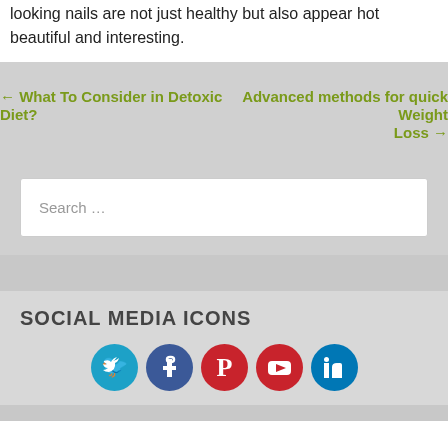looking nails are not just healthy but also appear hot beautiful and interesting.
← What To Consider in Detoxic Diet?    Advanced methods for quick Weight Loss →
Search …
SOCIAL MEDIA ICONS
[Figure (illustration): Row of five social media circular icons: Twitter (teal), Facebook (blue), Pinterest (red), YouTube (red), LinkedIn (blue)]